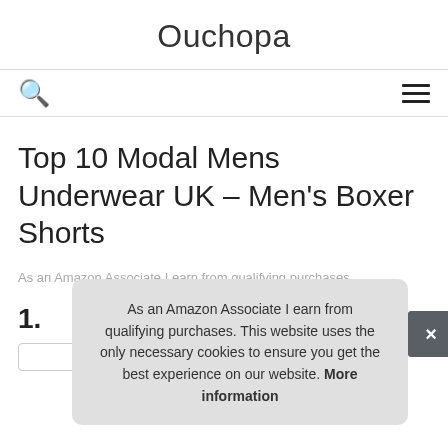Ouchopa
Top 10 Modal Mens Underwear UK – Men's Boxer Shorts
As an Amazon Associate I earn from qualifying purchases.
1.
As an Amazon Associate I earn from qualifying purchases. This website uses the only necessary cookies to ensure you get the best experience on our website. More information